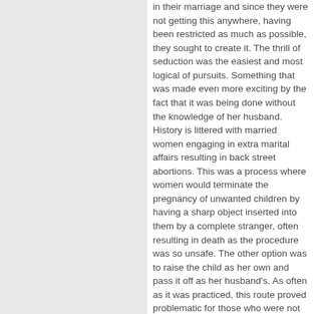in their marriage and since they were not getting this anywhere, having been restricted as much as possible, they sought to create it. The thrill of seduction was the easiest and most logical of pursuits. Something that was made even more exciting by the fact that it was being done without the knowledge of her husband. History is littered with married women engaging in extra marital affairs resulting in back street abortions. This was a process where women would terminate the pregnancy of unwanted children by having a sharp object inserted into them by a complete stranger, often resulting in death as the procedure was so unsafe. The other option was to raise the child as her own and pass it off as her husband's. As often as it was practiced, this route proved problematic for those who were not yet married. In spite of this risk,